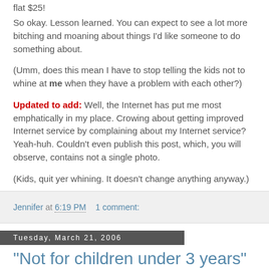flat $25!
So okay. Lesson learned. You can expect to see a lot more bitching and moaning about things I'd like someone to do something about.
(Umm, does this mean I have to stop telling the kids not to whine at me when they have a problem with each other?)
Updated to add: Well, the Internet has put me most emphatically in my place. Crowing about getting improved Internet service by complaining about my Internet service? Yeah-huh. Couldn't even publish this post, which, you will observe, contains not a single photo.
(Kids, quit yer whining. It doesn't change anything anyway.)
Jennifer at 6:19 PM    1 comment:
Tuesday, March 21, 2006
"Not for children under 3 years"